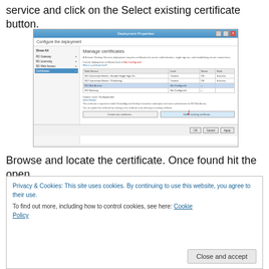service and click on the Select existing certificate button.
[Figure (screenshot): Windows Deployment Properties dialog showing 'Configure the deployment' with 'Manage certificates' section. A table lists role services: RD Connection Broker - Enable Single Sign On (Trusted/OK/Success), RD Connection Broker - Publishing (Trusted/OK/Success), RD Web Access (Not Configured, highlighted), RD Gateway (Not Configured). A red arrow points to the 'Select existing certificate...' button at the bottom.]
Browse and locate the certificate. Once found hit the open
Privacy & Cookies: This site uses cookies. By continuing to use this website, you agree to their use.
To find out more, including how to control cookies, see here: Cookie Policy
Close and accept